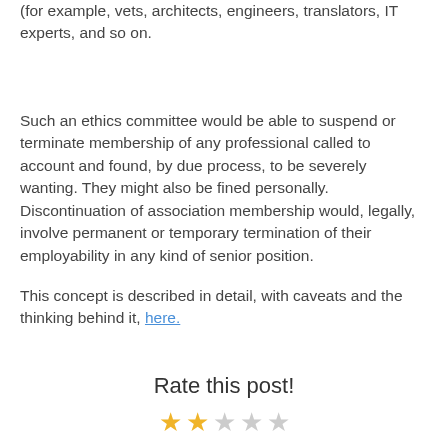(for example, vets, architects, engineers, translators, IT experts, and so on.
Such an ethics committee would be able to suspend or terminate membership of any professional called to account and found, by due process, to be severely wanting. They might also be fined personally. Discontinuation of association membership would, legally, involve permanent or temporary termination of their employability in any kind of senior position.
This concept is described in detail, with caveats and the thinking behind it, here.
Rate this post!